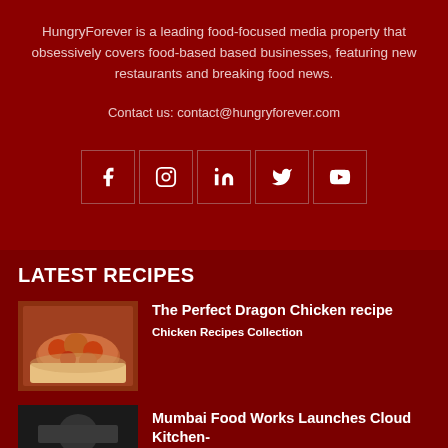HungryForever is a leading food-focused media property that obsessively covers food-based based businesses, featuring new restaurants and breaking food news.
Contact us: contact@hungryforever.com
[Figure (infographic): Row of 5 social media icon boxes: Facebook, Instagram, LinkedIn, Twitter, YouTube]
LATEST RECIPES
[Figure (photo): Photo of Dragon Chicken dish - fried chicken pieces with peppers]
The Perfect Dragon Chicken recipe
Chicken Recipes Collection
[Figure (photo): Dark photo, likely a food item for Mumbai Food Works article]
Mumbai Food Works Launches Cloud Kitchen-